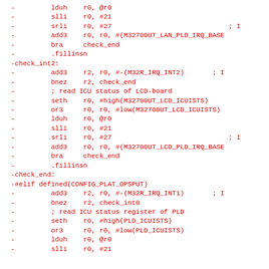-		lduh	r0, @r0
-		slli	r0, #21
-		srli	r0, #27					; I
-		add3	r0, r0, #(M32700UT_LAN_PLD_IRQ_BASE
-		bra		check_end
-		.fillinsn
-check_int2:
-		add3	r2, r0, #-(M32R_IRQ_INT2)		; I
-		bnez	r2, check_end
-		; read ICU status of LCD-board
-		seth	r0, #high(M32700UT_LCD_ICUISTS)
-		or3		r0, r0, #low(M32700UT_LCD_ICUISTS)
-		lduh	r0, @r0
-		slli	r0, #21
-		srli	r0, #27					; I
-		add3	r0, r0, #(M32700UT_LCD_PLD_IRQ_BASE
-		bra		check_end
-		.fillinsn
-check_end:
-#elif defined(CONFIG_PLAT_OPSPUT)
-		add3	r2, r0, #-(M32R_IRQ_INT1)		; I
-		bnez	r2, check_int0
-		; read ICU status register of PLD
-		seth	r0, #high(PLD_ICUISTS)
-		or3		r0, r0, #low(PLD_ICUISTS)
-		lduh	r0, @r0
-		slli	r0, #21